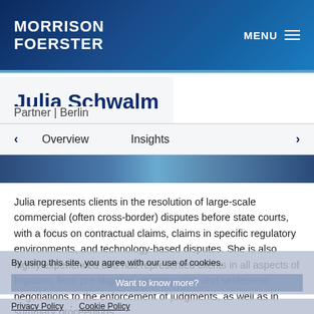MORRISON FOERSTER
Julia Schwalm
Partner  |  Berlin
Overview   Insights
Julia represents clients in the resolution of large-scale commercial (often cross-border) disputes before state courts, with a focus on contractual claims, claims in specific regulatory environments, and technology-based disputes. She is also highly experienced and has represented clients in all aspects of litigation, from pre-litigation strategy, trial, and settlement negotiations to the enforcement of judgments, as well as in summary proceedings.
By using this site, you agree with our use of cookies.
Privacy Policy  Cookie Policy